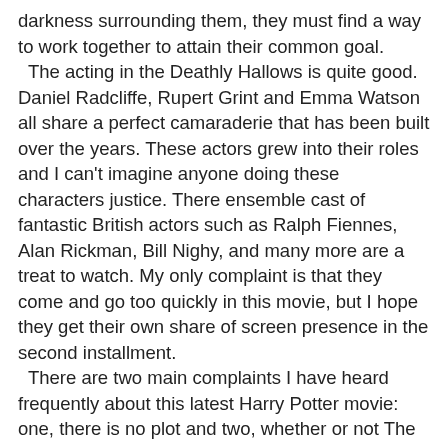darkness surrounding them, they must find a way to work together to attain their common goal.
  The acting in the Deathly Hallows is quite good. Daniel Radcliffe, Rupert Grint and Emma Watson all share a perfect camaraderie that has been built over the years. These actors grew into their roles and I can't imagine anyone doing these characters justice. There ensemble cast of fantastic British actors such as Ralph Fiennes, Alan Rickman, Bill Nighy, and many more are a treat to watch. My only complaint is that they come and go too quickly in this movie, but I hope they get their own share of screen presence in the second installment.
  There are two main complaints I have heard frequently about this latest Harry Potter movie: one, there is no plot and two, whether or not The Deathly Hallows should have been made into films. To answer the first question, there is definitely a plot. I think the movie did an excellent job in getting to the center of the first half of the book. In the book, the first half is dedicated to the long search of the Horcruxes and how to destroy them. The movie retains all of the major events that happened in the book, including an excellent explanation of the Deathly Hallows (a short animation story